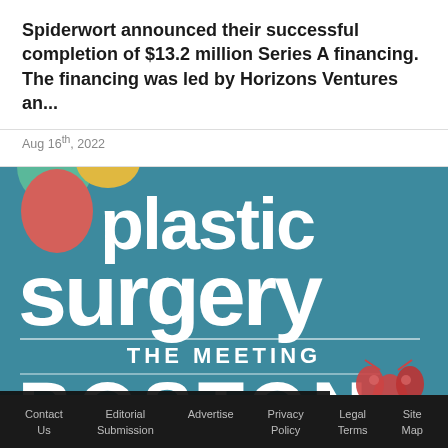Spiderwort announced their successful completion of $13.2 million Series A financing. The financing was led by Horizons Ventures an...
Aug 16th, 2022
[Figure (logo): Plastic Surgery The Meeting Boston conference logo on teal/blue background with colored circles and lobster illustration, with NEWS bar overlay]
Contact Us   Editorial Submission   Advertise   Privacy Policy   Legal Terms   Site Map